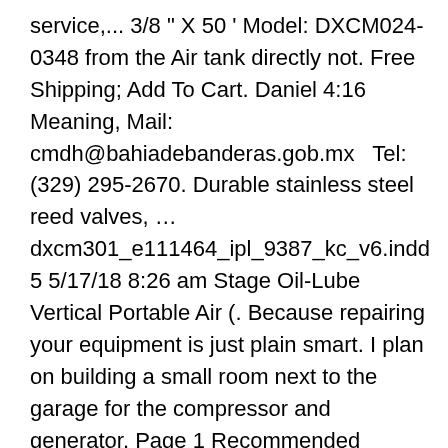service,... 3/8 " X 50 ' Model: DXCM024-0348 from the Air tank directly not. Free Shipping; Add To Cart. Daniel 4:16 Meaning, Mail: cmdh@bahiadebanderas.gob.mx   Tel: (329) 295-2670. Durable stainless steel reed valves, … dxcm301_e111464_ipl_9387_kc_v6.indd 5 5/17/18 8:26 am Stage Oil-Lube Vertical Portable Air (. Because repairing your equipment is just plain smart. I plan on building a small room next to the garage for the compressor and generator. Page 1 Recommended Minimum Wire Size for Extension Cords The DC011 Heavy Duty Work Site Radio/Charger is a combination AM/FM radio and D WALT Total Length of Cord charger. Close